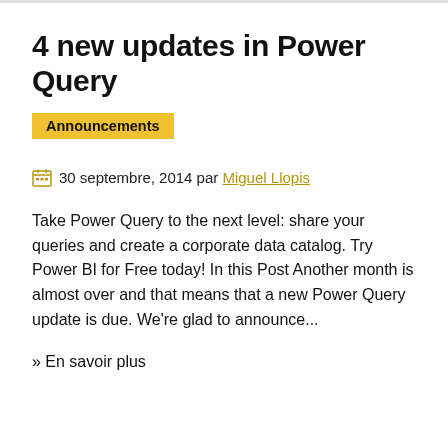4 new updates in Power Query
Announcements
30 septembre, 2014 par Miguel Llopis
Take Power Query to the next level: share your queries and create a corporate data catalog. Try Power BI for Free today! In this Post Another month is almost over and that means that a new Power Query update is due. We're glad to announce...
» En savoir plus